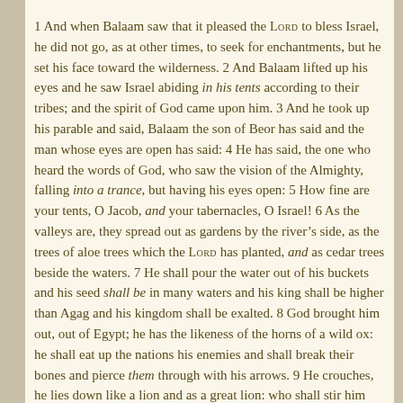1 And when Balaam saw that it pleased the LORD to bless Israel, he did not go, as at other times, to seek for enchantments, but he set his face toward the wilderness. 2 And Balaam lifted up his eyes and he saw Israel abiding in his tents according to their tribes; and the spirit of God came upon him. 3 And he took up his parable and said, Balaam the son of Beor has said and the man whose eyes are open has said: 4 He has said, the one who heard the words of God, who saw the vision of the Almighty, falling into a trance, but having his eyes open: 5 How fine are your tents, O Jacob, and your tabernacles, O Israel! 6 As the valleys are, they spread out as gardens by the river’s side, as the trees of aloe trees which the LORD has planted, and as cedar trees beside the waters. 7 He shall pour the water out of his buckets and his seed shall be in many waters and his king shall be higher than Agag and his kingdom shall be exalted. 8 God brought him out, out of Egypt; he has the likeness of the horns of a wild ox: he shall eat up the nations his enemies and shall break their bones and pierce them through with his arrows. 9 He crouches, he lies down like a lion and as a great lion: who shall stir him up? Blessed is he